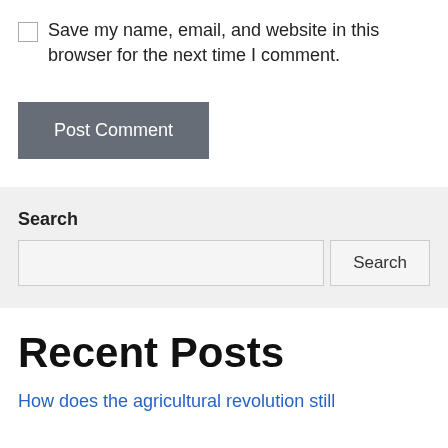Save my name, email, and website in this browser for the next time I comment.
Post Comment
Search
Recent Posts
How does the agricultural revolution still